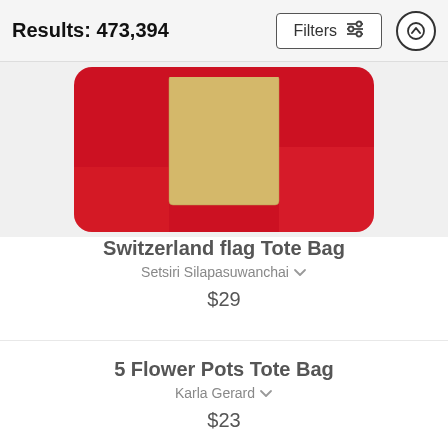Results: 473,394
[Figure (photo): A red tote bag with a golden/cream rectangular cross or block design on the front, resembling the Switzerland flag, photographed on a white background.]
Switzerland flag Tote Bag
Setsiri Silapasuwanchai
$29
5 Flower Pots Tote Bag
Karla Gerard
$23